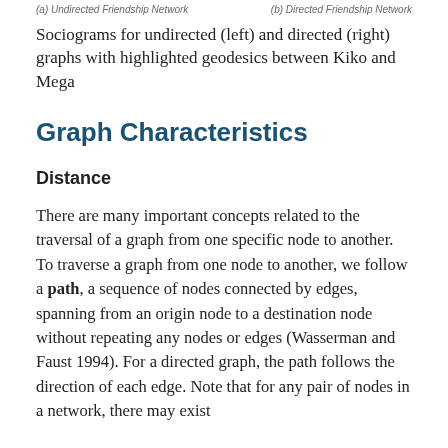(a) Undirected Friendship Network    (b) Directed Friendship Network
Sociograms for undirected (left) and directed (right) graphs with highlighted geodesics between Kiko and Mega
Graph Characteristics
Distance
There are many important concepts related to the traversal of a graph from one specific node to another. To traverse a graph from one node to another, we follow a path, a sequence of nodes connected by edges, spanning from an origin node to a destination node without repeating any nodes or edges (Wasserman and Faust 1994). For a directed graph, the path follows the direction of each edge. Note that for any pair of nodes in a network, there may exist